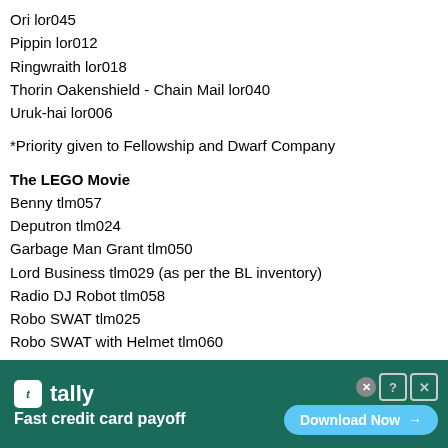Ori lor045
Pippin lor012
Ringwraith lor018
Thorin Oakenshield - Chain Mail lor040
Uruk-hai lor006
*Priority given to Fellowship and Dwarf Company
The LEGO Movie
Benny tlm057
Deputron tlm024
Garbage Man Grant tlm050
Lord Business tlm029 (as per the BL inventory)
Radio DJ Robot tlm058
Robo SWAT tlm025
Robo SWAT with Helmet tlm060
Robo SWAT with Robot Goggles tlm055
Robo SWAT with Vest and Knit Cap tlm044
Sheriff Not-a-robot tlm023
[Figure (screenshot): Tally app advertisement banner: dark teal background with Tally logo and 'Fast credit card payoff' tagline, blue 'Download Now' button, close/help/X icons in top right corner.]